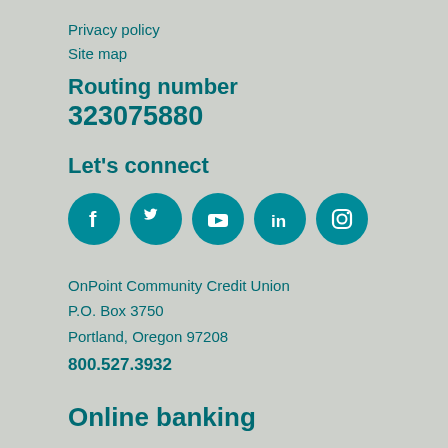Privacy policy
Site map
Routing number 323075880
Let's connect
[Figure (infographic): Five social media icons in teal circles: Facebook, Twitter, YouTube, LinkedIn, Instagram]
OnPoint Community Credit Union
P.O. Box 3750
Portland, Oregon 97208
800.527.3932
Online banking